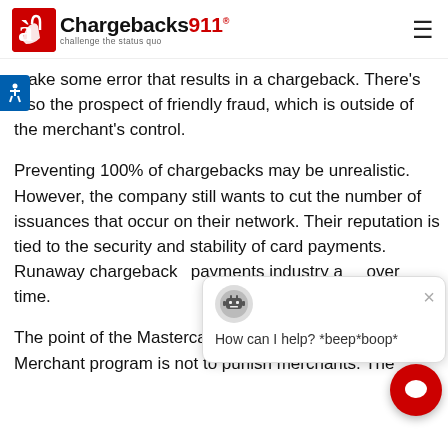Chargebacks911 - challenge the status quo
make some error that results in a chargeback. There's also the prospect of friendly fraud, which is outside of the merchant's control.
Preventing 100% of chargebacks may be unrealistic. However, the company still wants to cut the number of issuances that occur on their network. Their reputation is tied to the security and stability of card payments. Runaway chargebacks payments industry and over time.
The point of the Mastercard Excessive Chargeback Merchant program is not to punish merchants. The